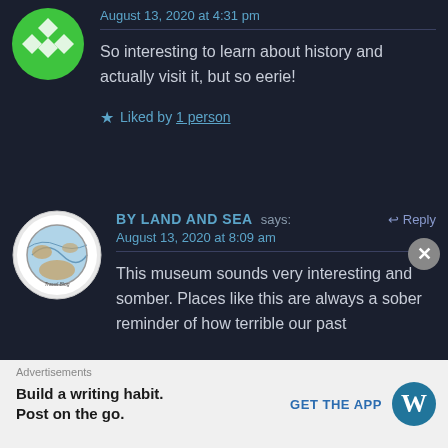August 13, 2020 at 4:31 pm
So interesting to learn about history and actually visit it, but so eerie!
Liked by 1 person
BY LAND AND SEA says:
August 13, 2020 at 8:09 am
This museum sounds very interesting and somber. Places like this are always a sober reminder of how terrible our past
Advertisements
Build a writing habit. Post on the go.
GET THE APP